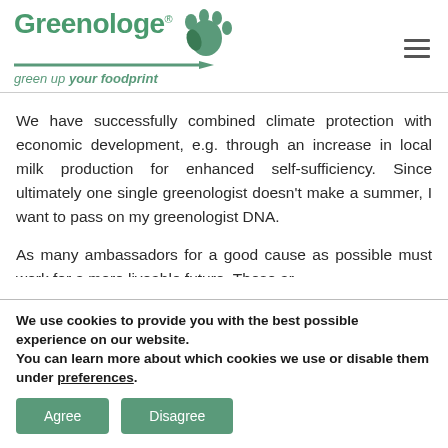Greenologe® — green up your foodprint
We have successfully combined climate protection with economic development, e.g. through an increase in local milk production for enhanced self-sufficiency. Since ultimately one single greenologist doesn't make a summer, I want to pass on my greenologist DNA.
As many ambassadors for a good cause as possible must work for a more liveable future. These are…
We use cookies to provide you with the best possible experience on our website.
You can learn more about which cookies we use or disable them under preferences.